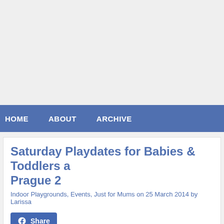[Figure (other): Advertisement / gray placeholder area at top of page]
HOME   ABOUT   ARCHIVE
Saturday Playdates for Babies & Toddlers a... Prague 2
Indoor Playgrounds, Events, Just for Mums on 25 March 2014 by Larissa
[Figure (other): Facebook Share button]
Guest report by Tatiana C.